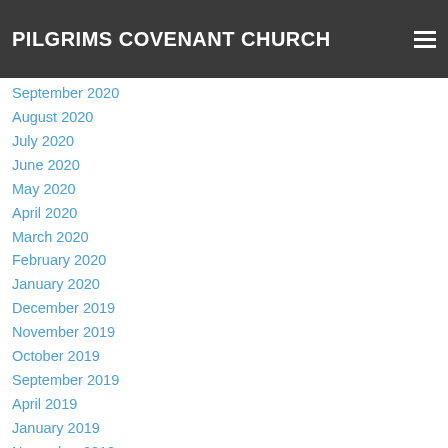PILGRIMS COVENANT CHURCH
September 2020
August 2020
July 2020
June 2020
May 2020
April 2020
March 2020
February 2020
January 2020
December 2019
November 2019
October 2019
September 2019
April 2019
January 2019
November 2018
October 2018